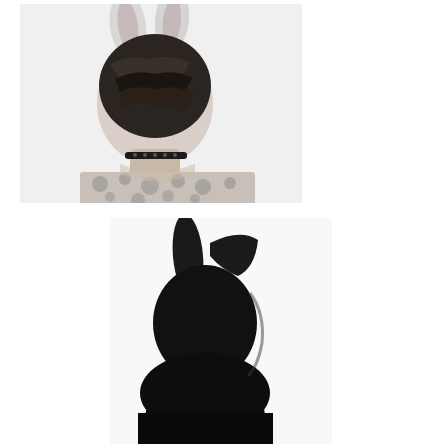[Figure (photo): Black and white photograph of a person seen from the back, with short dark hair and bunny ears on top, wearing a patterned top with a choker necklace, against a light background.]
[Figure (photo): Black and white photograph of a dark silhouette of a person with bunny ears, shown in profile against a white background, the figure is almost entirely in deep shadow.]